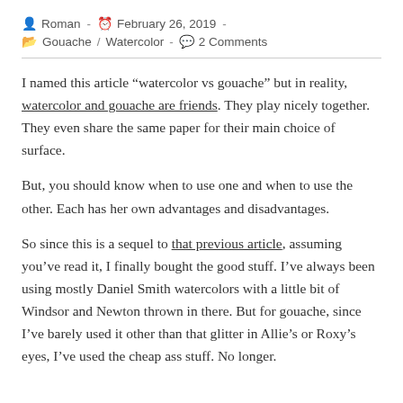Roman  -  February 26, 2019  -  Gouache / Watercolor  -  2 Comments
I named this article “watercolor vs gouache” but in reality, watercolor and gouache are friends. They play nicely together. They even share the same paper for their main choice of surface.
But, you should know when to use one and when to use the other. Each has her own advantages and disadvantages.
So since this is a sequel to that previous article, assuming you've read it, I finally bought the good stuff. I’ve always been using mostly Daniel Smith watercolors with a little bit of Windsor and Newton thrown in there. But for gouache, since I’ve barely used it other than that glitter in Allie’s or Roxy’s eyes, I’ve used the cheap ass stuff. No longer.